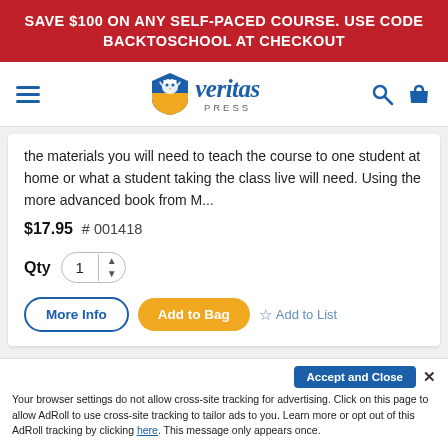SAVE $100 ON ANY SELF-PACED COURSE. USE CODE BACKTOSCHOOL AT CHECKOUT
[Figure (logo): Veritas Press logo with shield/eagle emblem and italic 'veritas PRESS' text, hamburger menu icon, search icon, and shopping bag icon in navigation bar]
the materials you will need to teach the course to one student at home or what a student taking the class live will need. Using the more advanced book from M...
$17.95  # 001418
Qty  1
More Info   Add to Bag   ☆ Add to List
Accept and Close ✕
Your browser settings do not allow cross-site tracking for advertising. Click on this page to allow AdRoll to use cross-site tracking to tailor ads to you. Learn more or opt out of this AdRoll tracking by clicking here. This message only appears once.